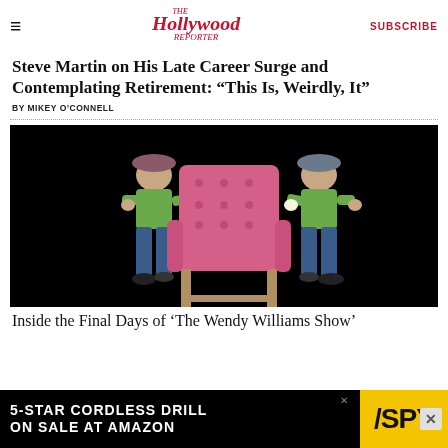The Hollywood Reporter | SUBSCRIBE
Steve Martin on His Late Career Surge and Contemplating Retirement: “This Is, Weirdly, It”
BY MIKEY O’CONNELL
[Figure (photo): Two men in green shirts and baseball caps carrying a pink tufted armchair against a black background]
Inside the Final Days of ‘The Wendy Williams Show’
[Figure (screenshot): Advertisement: 5-STAR CORDLESS DRILL ON SALE AT AMAZON with SPY logo]